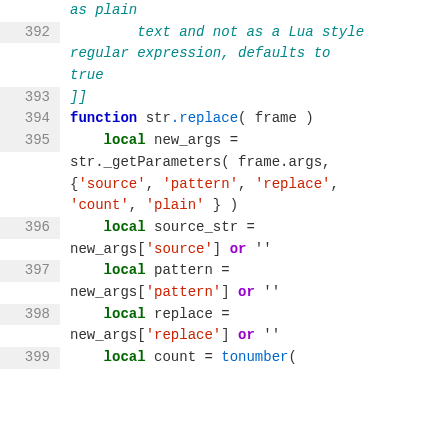Code snippet showing Lua function str.replace with line numbers 392-399
392    text and not as a Lua style regular expression, defaults to true
393    ]]
394    function str.replace( frame )
395        local new_args = str._getParameters( frame.args, {'source', 'pattern', 'replace', 'count', 'plain' } )
396        local source_str = new_args['source'] or ''
397        local pattern = new_args['pattern'] or ''
398        local replace = new_args['replace'] or ''
399        local count = tonumber(